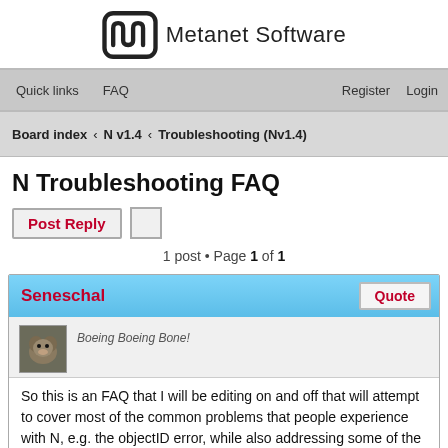[Figure (logo): Metanet Software logo with stylized M shape and text]
Quick links   FAQ   Register   Login
Board index < N v1.4 < Troubleshooting (Nv1.4)
N Troubleshooting FAQ
1 post • Page 1 of 1
Seneschal   Quote
[Figure (photo): User avatar thumbnail showing animal]
Boeing Boeing Bone!
So this is an FAQ that I will be editing on and off that will attempt to cover most of the common problems that people experience with N, e.g. the objectID error, while also addressing some of the